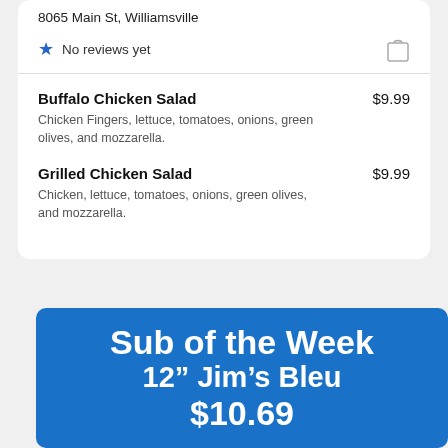8065 Main St, Williamsville
No reviews yet
Buffalo Chicken Salad $9.99 — Chicken Fingers, lettuce, tomatoes, onions, green olives, and mozzarella.
Grilled Chicken Salad $9.99 — Chicken, lettuce, tomatoes, onions, green olives, and mozzarella.
More about Pesci's Pizza & Wings
[Figure (infographic): Blue promotional banner reading 'Sub of the Week 12" Jim's Bleu $10.69' in large white bold text on a blue rounded rectangle background.]